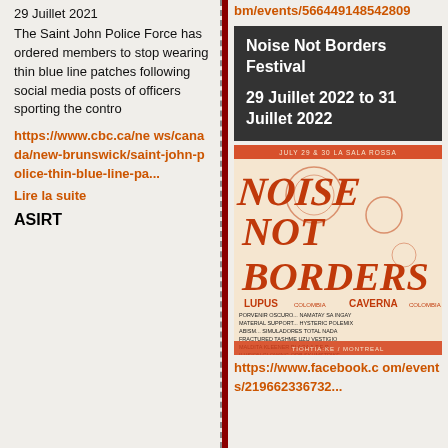29 Juillet 2021
The Saint John Police Force has ordered members to stop wearing thin blue line patches following social media posts of officers sporting the contro
https://www.cbc.ca/news/canada/new-brunswick/saint-john-police-thin-blue-line-pa...
Lire la suite
ASIRT
bm/events/566449148542809
Noise Not Borders Festival
29 Juillet 2022 to 31 Juillet 2022
[Figure (photo): Noise Not Borders festival poster for July 29 & 30 at La Sala Rossa, Tiohtia:ke / Montreal. Features bands: Lupus (Colombia), Caverna (Colombia), Porvenir Oscuro, Namatay Sa Ingay, Material Support, Hysteric Polemix, Abism, Simuladores, Total Nada, Fractured, Tashme, Uzu, Vestigio, Maldita, Kleener, Plaga, A.T.E.R, Ilusion, Glowing Orb, Skumstrike.]
https://www.facebook.com/events/219662336732...